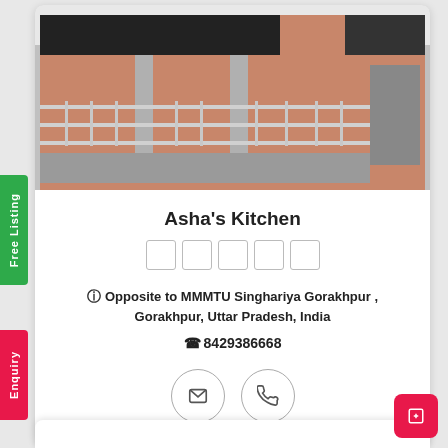[Figure (photo): Exterior photo of Asha's Kitchen restaurant building showing a multi-story structure with steel railings, dark awnings, and a staircase on the right side]
Asha's Kitchen
[Figure (other): Five empty star rating boxes (outline only, no fill)]
Opposite to MMMTU Singhariya Gorakhpur , Gorakhpur, Uttar Pradesh, India
8429386668
[Figure (other): Two circular icon buttons: email/envelope and phone/call]